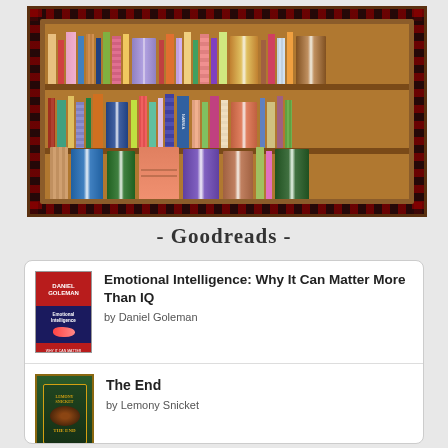[Figure (photo): A quilt artwork depicting a bookshelf with colorful book spines and open books arranged on three shelves, with a dark decorative border.]
- Goodreads -
[Figure (illustration): Book cover of 'Emotional Intelligence' by Daniel Goleman - red and navy cover with author name DANIEL GOLEMAN at top]
Emotional Intelligence: Why It Can Matter More Than IQ
by Daniel Goleman
[Figure (illustration): Book cover of 'The End' by Lemony Snicket - dark green cover with ornate border]
The End
by Lemony Snicket